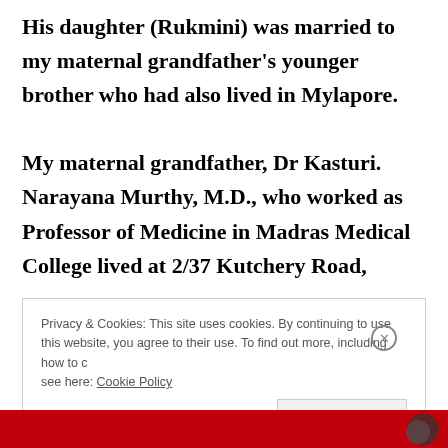His daughter (Rukmini) was married to my maternal grandfather's younger brother who had also lived in Mylapore.

My maternal grandfather, Dr Kasturi. Narayana Murthy, M.D., who worked as Professor of Medicine in Madras Medical College lived at 2/37 Kutchery Road,
Privacy & Cookies: This site uses cookies. By continuing to use this website, you agree to their use. To find out more, including how to control cookies, see here: Cookie Policy